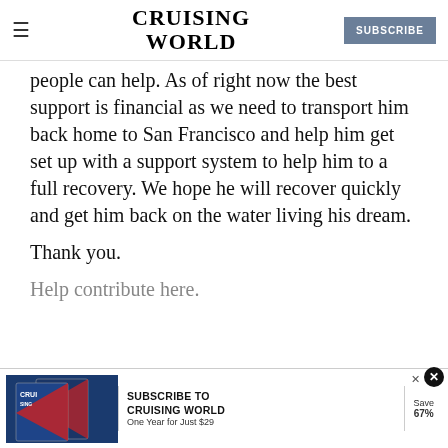CRUISING WORLD  [SUBSCRIBE]
people can help. As of right now the best support is financial as we need to transport him back home to San Francisco and help him get set up with a support system to help him to a full recovery. We hope he will recover quickly and get him back on the water living his dream.
Thank you.
Help contribute here.
[Figure (screenshot): Advertisement banner for Cruising World magazine subscription. Shows magazine covers on the left, text 'SUBSCRIBE TO CRUISING WORLD One Year for Just $29' in the center, and 'Save 67%' on the right. An X close button appears at top right.]